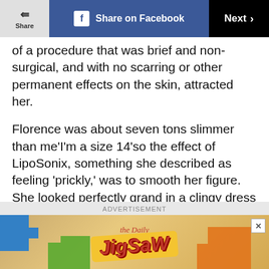Share | Share on Facebook | Next
of a procedure that was brief and non-surgical, and with no scarring or other permanent effects on the skin, attracted her.
Florence was about seven tons slimmer than me’I’m a size 14’so the effect of LipoSonix, something she described as feeling ‘prickly,’ was to smooth her figure. She looked perfectly grand in a clingy dress when I met her.
The technology: UltraShape
[Figure (other): ADVERTISEMENT banner showing 'the Daily Jigsaw' puzzle game advertisement with colorful puzzle pieces]